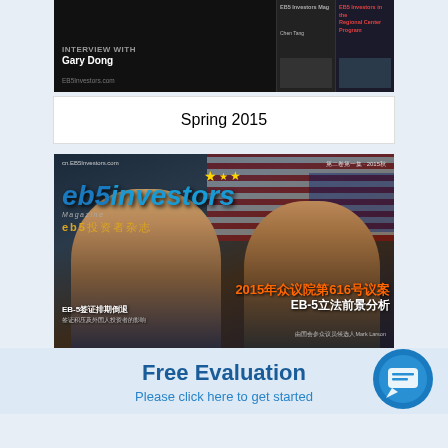[Figure (photo): Top strip showing partial view of a dark-themed magazine page with 'Interview with Gary Dong' text and EB5Investors.com URL, with side panels showing magazine thumbnails]
Spring 2015
[Figure (photo): Cover of EB5 Investors Magazine Spring 2015 Chinese edition (cn.EB5Investors.com), featuring two men in suits against an American flag background. Text includes Chinese characters and: 2015年众议院第616号议案, EB-5立法前景分析, EB-5签证排期倒退, eb5投资者杂志]
Free Evaluation
Please click here to get started